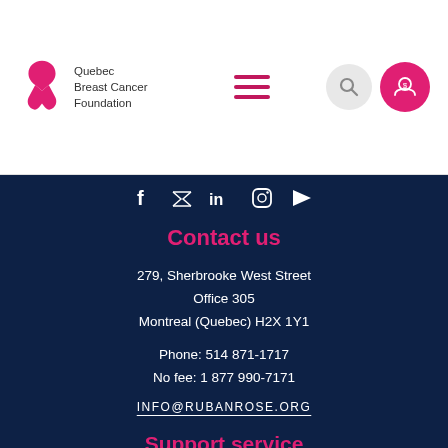[Figure (logo): Quebec Breast Cancer Foundation logo with pink ribbon and text]
[Figure (illustration): Hamburger menu icon (three pink horizontal lines)]
[Figure (illustration): Search button (magnifying glass on gray circle) and donate button (hand with coin on pink circle)]
[Figure (illustration): Social media icons: Facebook, Twitter, LinkedIn, Instagram, YouTube — white on dark navy background]
Contact us
279, Sherbrooke West Street
Office 305
Montreal (Quebec) H2X 1Y1
Phone: 514 871-1717
No fee: 1 877 990-7171
INFO@RUBANROSE.ORG
Support service